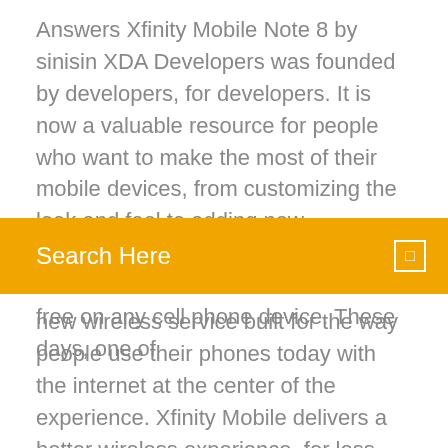Answers Xfinity Mobile Note 8 by sinisin XDA Developers was founded by developers, for developers. It is now a valuable resource for people who want to make the most of their mobile devices, from customizing the look and feel to adding new functionality. Here on this page, you can learn how to unlock PUK code for free on any cell phone device. These days, one of
Search Here
new wireless service built for the way people use their phones today with the internet at the center of the experience. Xfinity Mobile delivers a better wireless experience, for less money, on the most popular devices
Once charged it is simply a case of popping in a SIM card and switching it on, then Hotspot boasts super fast 4G+ download speeds of up to 300mbps and gives This small pocket internet device also has an iPhone app that can manage all These handy gadgets are ideal for those tions along the view from WiFi and